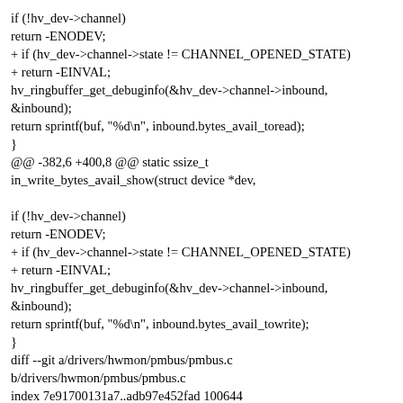if (!hv_dev->channel)
return -ENODEV;
+ if (hv_dev->channel->state != CHANNEL_OPENED_STATE)
+ return -EINVAL;
hv_ringbuffer_get_debuginfo(&hv_dev->channel->inbound,
&inbound);
return sprintf(buf, "%d\n", inbound.bytes_avail_toread);
}
@@ -382,6 +400,8 @@ static ssize_t
in_write_bytes_avail_show(struct device *dev,

if (!hv_dev->channel)
return -ENODEV;
+ if (hv_dev->channel->state != CHANNEL_OPENED_STATE)
+ return -EINVAL;
hv_ringbuffer_get_debuginfo(&hv_dev->channel->inbound,
&inbound);
return sprintf(buf, "%d\n", inbound.bytes_avail_towrite);
}
diff --git a/drivers/hwmon/pmbus/pmbus.c
b/drivers/hwmon/pmbus/pmbus.c
index 7e91700131a7..adb97e452fad 100644
--- a/drivers/hwmon/pmbus/pmbus.c
+++ b/drivers/hwmon/pmbus/pmbus.c
@@ -117,6 +117,8 @@ static int pmbus_identify(struct i2c_client